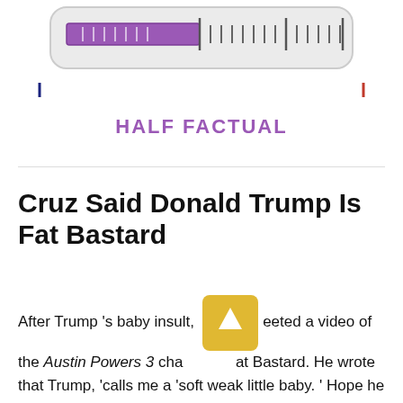[Figure (infographic): A fact-check meter graphic showing a scale partially filled with purple/violet color on the left half, with tick marks. Below is a spectrum bar from blue (left) to red (right). Labeled 'HALF FACTUAL' in purple bold text.]
HALF FACTUAL
Cruz Said Donald Trump Is Fat Bastard
After Trump 's baby insult, [tweeted] a video of the Austin Powers 3 character Fat Bastard. He wrote that Trump, 'calls me a 'soft weak little baby. ' Hope he doesn 't try to eat me!" followed by a link to the clip. So is Donald Trump Fat Bastard? Clearly not. In the credits of Austin